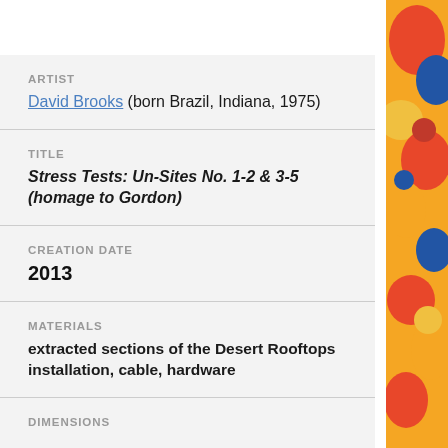ARTIST
David Brooks (born Brazil, Indiana, 1975)
TITLE
Stress Tests: Un-Sites No. 1-2 & 3-5 (homage to Gordon)
CREATION DATE
2013
MATERIALS
extracted sections of the Desert Rooftops installation, cable, hardware
DIMENSIONS
[Figure (illustration): Colorful artwork strip visible on the right edge of the page, showing an abstract/decorative illustration with red, yellow, blue and orange colors]